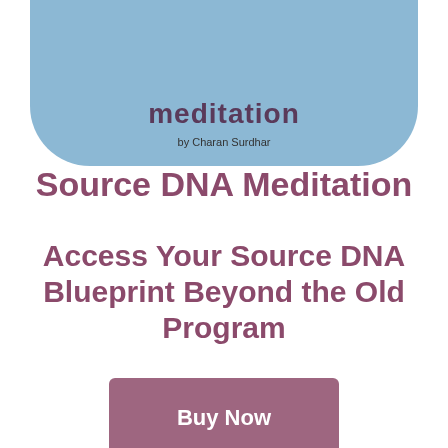[Figure (illustration): Partial book cover showing rounded light blue shape with text 'meditation' and 'by Charan Surdhar' at the bottom, cropped at top of page]
Source DNA Meditation
Access Your Source DNA Blueprint Beyond the Old Program
Buy Now